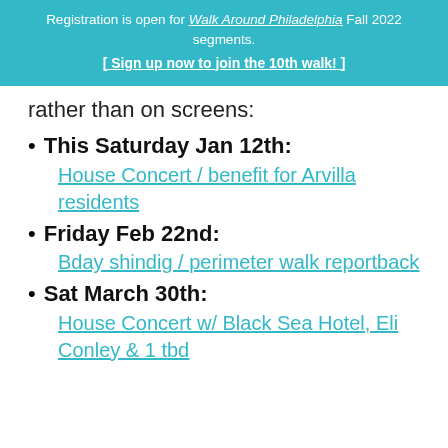Registration is open for Walk Around Philadelphia Fall 2022 segments. [ Sign up now to join the 10th walk! ]
rather than on screens:
This Saturday Jan 12th: House Concert / benefit for Arvilla residents
Friday Feb 22nd: Bday shindig / perimeter walk reportback
Sat March 30th: House Concert w/ Black Sea Hotel, Eli Conley & 1 tbd